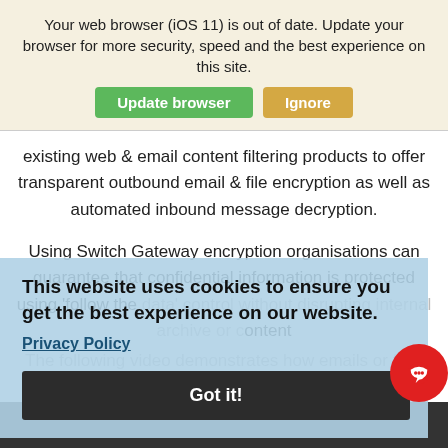Your web browser (iOS 11) is out of date. Update your browser for more security, speed and the best experience on this site.
Update browser | Ignore
existing web & email content filtering products to offer transparent outbound email & file encryption as well as automated inbound message decryption.
Using Switch Gateway encryption organisations can guarantee that confidential information is protected using 'follow the data' control without disrupting internal archive or content
This website uses cookies to ensure you get the best experience on our website.
Privacy Policy
The following video demonstrates how emails or files can be securely shared.
Got it!